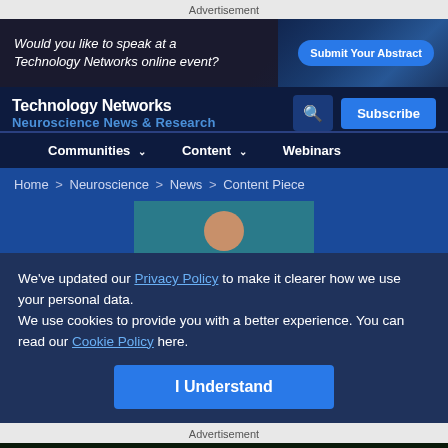Advertisement
[Figure (illustration): Ad banner: Would you like to speak at a Technology Networks online event? Submit Your Abstract button on dark background with blue glowing imagery]
Technology Networks | Neuroscience News & Research | Subscribe
Communities ∨  Content ∨  Webinars
Home > Neuroscience > News > Content Piece
We've updated our Privacy Policy to make it clearer how we use your personal data.
We use cookies to provide you with a better experience. You can read our Cookie Policy here.
I Understand
Advertisement
[Figure (illustration): Ad banner: Opinionated Science podcast. Episode 02: Reacting to Bias in STEM. Listen to the Podcast button. Green glowing circles on dark background.]